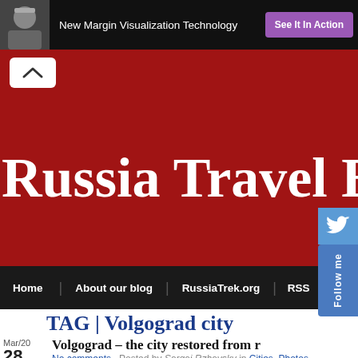[Figure (screenshot): Advertisement banner with dark background showing a person in medical attire, text 'New Margin Visualization Technology' and a purple button 'See It In Action']
[Figure (screenshot): Russia Travel Blog website header with dark red background showing large white serif text 'Russia Travel Blog', with collapse/expand button and Twitter follow button on right side]
[Figure (screenshot): Navigation bar with dark background showing links: Home, About our blog, RussiaTrek.org, RSS, Fac...]
TAG | Volgograd city
Mar/20 28
Volgograd – the city restored from r
No comments · Posted by Sergei Rzhevsky in Cities, Photos
Volgograd is a city with a population of more than 1 million pe bank of the Volga River in the southeast of the European part